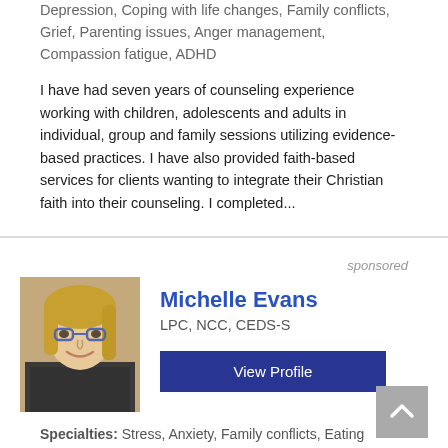Depression, Coping with life changes, Family conflicts, Grief, Parenting issues, Anger management, Compassion fatigue, ADHD
I have had seven years of counseling experience working with children, adolescents and adults in individual, group and family sessions utilizing evidence-based practices. I have also provided faith-based services for clients wanting to integrate their Christian faith into their counseling. I completed...
sponsored
[Figure (photo): Headshot photo of Michelle Evans, a woman with blonde hair and glasses, wearing a dark patterned top]
Michelle Evans
LPC, NCC, CEDS-S
View Profile
Specialties: Stress, Anxiety, Family conflicts, Eating disorders, Parenting issues, Coping with life changes, Addictions, LGBT, Relationship issues, Trauma and abuse, Intimacy-related issues, Career difficulties, Depression
Michelle is a Licensed Professional Counselor (LPC) in the